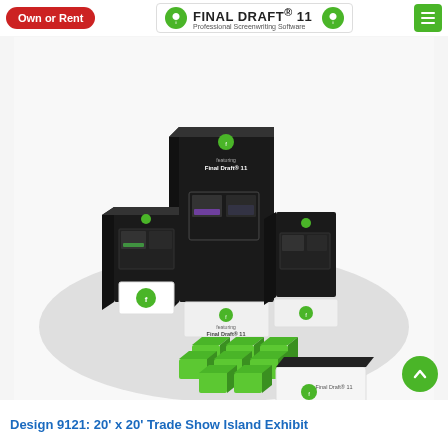Own or Rent
[Figure (logo): Final Draft 11 Professional Screenwriting Software logo with green circle icon]
[Figure (screenshot): Hamburger menu icon button with green background]
[Figure (photo): 3D render of a 20x20 trade show island exhibit with black and white display panels showing Final Draft 11 branding, green cube seating, and a reception desk]
[Figure (other): Scroll to top green circular button with upward chevron]
Design 9121: 20' x 20' Trade Show Island Exhibit